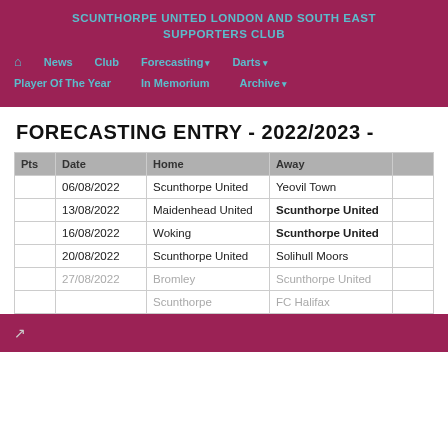SCUNTHORPE UNITED LONDON AND SOUTH EAST SUPPORTERS CLUB
News | Club | Forecasting | Darts | Player Of The Year | In Memorium | Archive
FORECASTING ENTRY - 2022/2023 -
| Pts | Date | Home | Away |  |
| --- | --- | --- | --- | --- |
|  | 06/08/2022 | Scunthorpe United | Yeovil Town |  |
|  | 13/08/2022 | Maidenhead United | Scunthorpe United |  |
|  | 16/08/2022 | Woking | Scunthorpe United |  |
|  | 20/08/2022 | Scunthorpe United | Solihull Moors |  |
|  | 27/08/2022 | Bromley | Scunthorpe United |  |
|  | ... | Scunthorpe | FC Halifax |  |